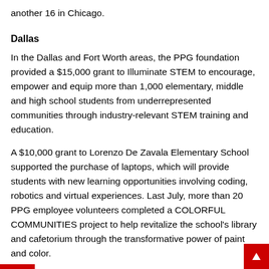another 16 in Chicago.
Dallas
In the Dallas and Fort Worth areas, the PPG foundation provided a $15,000 grant to Illuminate STEM to encourage, empower and equip more than 1,000 elementary, middle and high school students from underrepresented communities through industry-relevant STEM training and education.
A $10,000 grant to Lorenzo De Zavala Elementary School supported the purchase of laptops, which will provide students with new learning opportunities involving coding, robotics and virtual experiences. Last July, more than 20 PPG employee volunteers completed a COLORFUL COMMUNITIES project to help revitalize the school's library and cafetorium through the transformative power of paint and color.